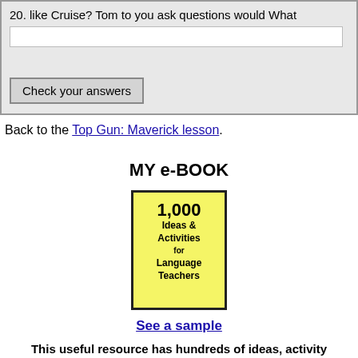20. like Cruise? Tom to you ask questions would What
Check your answers
Back to the Top Gun: Maverick lesson.
MY e-BOOK
[Figure (illustration): Book cover with yellow background showing '1,000 Ideas & Activities for Language Teachers']
See a sample
This useful resource has hundreds of ideas, activity templates, reproducible activities for ...
warm ups